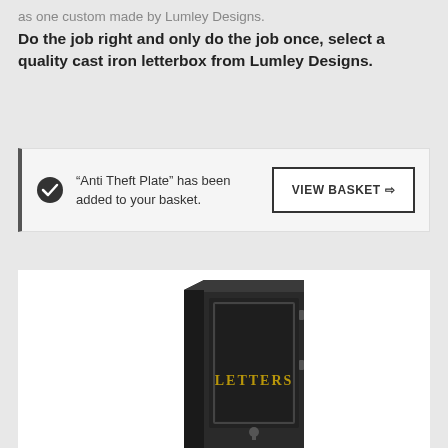as one custom made by Lumley Designs.
Do the job right and only do the job once, select a quality cast iron letterbox from Lumley Designs.
"Anti Theft Plate" has been added to your basket.
VIEW BASKET ⇨
[Figure (photo): A tall black cast iron letterbox with gold 'LETTERS' text on the front door and a keyhole lock at the bottom.]